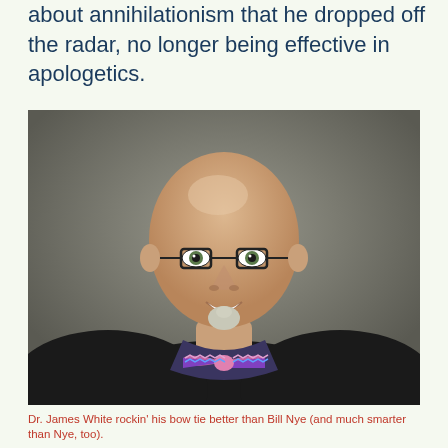about annihilationism that he dropped off the radar, no longer being effective in apologetics.
[Figure (photo): Professional headshot of Dr. James White, a bald man with glasses, a goatee, wearing a black jacket, dark shirt, and a colorful zigzag-patterned bow tie, against a grey background.]
Dr. James White rockin' his bow tie better than Bill Nye (and much smarter than Nye, too).